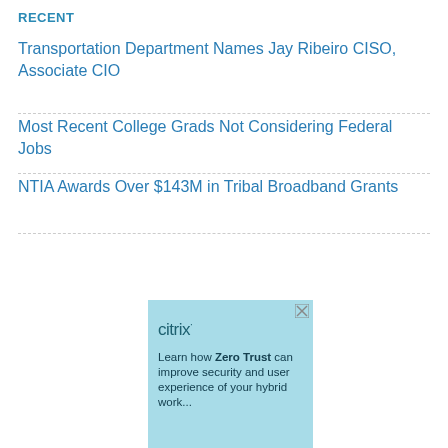RECENT
Transportation Department Names Jay Ribeiro CISO, Associate CIO
Most Recent College Grads Not Considering Federal Jobs
NTIA Awards Over $143M in Tribal Broadband Grants
[Figure (other): Citrix advertisement with light blue background showing Citrix logo and text: Learn how Zero Trust can improve security and user experience of your hybrid work...]